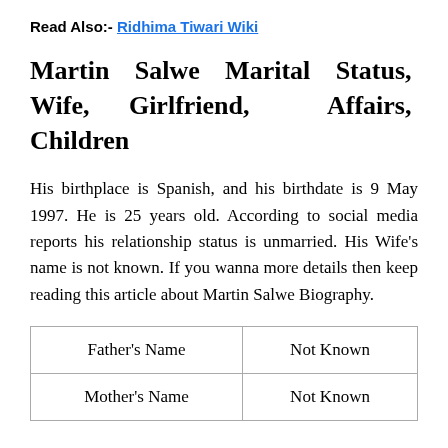Read Also:- Ridhima Tiwari Wiki
Martin Salwe Marital Status, Wife, Girlfriend, Affairs, Children
His birthplace is Spanish, and his birthdate is 9 May 1997. He is 25 years old. According to social media reports his relationship status is unmarried. His Wife’s name is not known. If you wanna more details then keep reading this article about Martin Salwe Biography.
| Father’s Name | Not Known |
| Mother’s Name | Not Known |